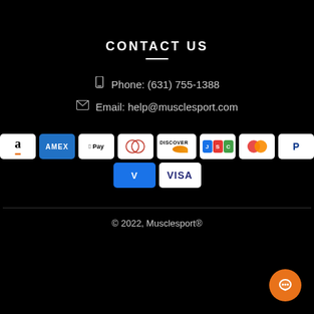CONTACT US
Phone: (631) 755-1388
Email: help@musclesport.com
[Figure (infographic): Payment method icons: Amazon, AMEX, Apple Pay, Diners Club, Discover, JCB, Mastercard, PayPal, Venmo, Visa]
© 2022, Musclesport®